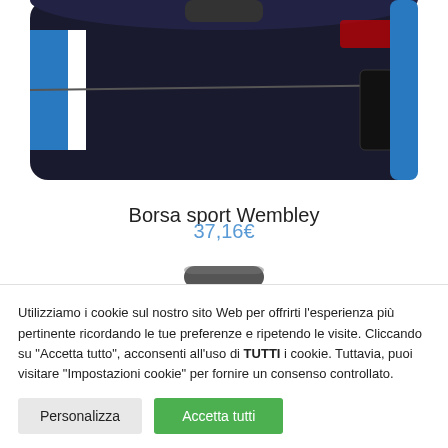[Figure (photo): Partial view of a black Slazenger sport bag (Wembley model) with blue and white accents, showing the upper portion of the bag against white background]
Borsa sport Wembley
37,16€
[Figure (photo): Partial view of a sport trolley bag handle in dark grey, showing just the top handle portion]
Utilizziamo i cookie sul nostro sito Web per offrirti l'esperienza più pertinente ricordando le tue preferenze e ripetendo le visite. Cliccando su "Accetta tutto", acconsenti all'uso di TUTTI i cookie. Tuttavia, puoi visitare "Impostazioni cookie" per fornire un consenso controllato.
Personalizza
Accetta tutti